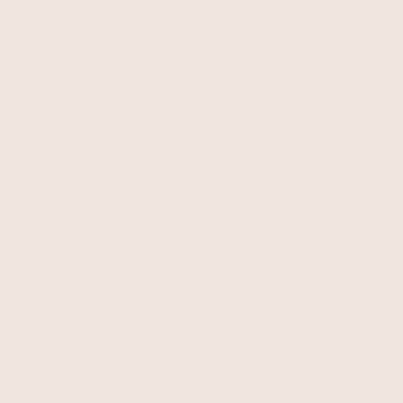(p.41, l.07)  he steadily [s] made his way [s...
(p.41, l.11)  until turning around to his [0...
(p.43, l.02)  circle and [now] it's right
(p.43, l.09)  Giovanni wanted [was abou...
(p.43, l.12)  Zanelli yelled [hollered] nas...
(p.45, l.09)  had a bright [radiant] fluore...
(p.45, l.13)  the colour [color] of the sea
(p.45, l.18)  decorated with green [blue]
(p.47, l.04)  middle---[,] a smoky zone
(p.47, l.06)  vapours of steam [steamy v...
(p.47, l.08)  Furtheer into [In the depths...
(p.47, l.21)  and [deliberately] straining ...
(p.49, l.05)  among the dark blue branc...
(p.49, l.15)  As they happily played [hap...
(p.49, l.17)  was [lost in thoughts] far aw...
(p.49, l.23)  the dairy and stopped [stoo...
(p.49, l.24)  He took off his cap,
(p.51, l.01)  calling out...
(p.51, l.02)  'Good evening-[,]' [he calle...
(p.51, l.03)  But it [It] looked quiet inside...
(p.51, l.22)  you-[!]' [He] bowed and left.
(p.53, l.13)  Zanelli hollered---[.]